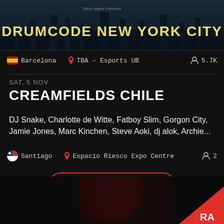[Figure (photo): Drumcode New York City banner image with city skyline and bold text overlay]
Barcelona  TBA – Esports UB  5.7K
SAT, 5 NOV
CREAMFIELDS CHILE
DJ Snake, Charlotte de Witte, Fatboy Slim, Gorgon City, Jamie Jones, Marc Kinchen, Steve Aoki, dj alok, Archie...
Santiago  Espacio Riesco Expo Centre  2
View more events
[Figure (photo): Multiple exposure photo of person's face in red/white tones at bottom of page, with RA (Resident Advisor) logo triangle in bottom right corner]